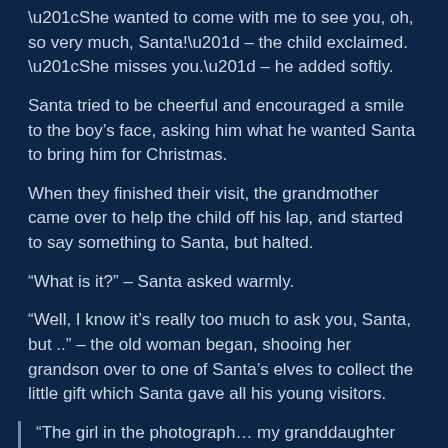“She wanted to come with me to see you, oh, so very much, Santa!” – the child exclaimed.
“She misses you.” – he added softly.
Santa tried to be cheerful and encouraged a smile to the boy’s face, asking him what he wanted Santa to bring him for Christmas.
When they finished their visit, the grandmother came over to help the child off his lap, and started to say something to Santa, but halted.
“What is it?” – Santa asked warmly.
“Well, I know it’s really too much to ask you, Santa, but ..” – the old woman began, shooing her grandson over to one of Santa’s elves to collect the little gift which Santa gave all his young visitors.
“The girl in the photograph… my granddaughter well, you see … she has leukemia and isn’t expected to make it even through the holidays.” – she said through tear-filled eyes.